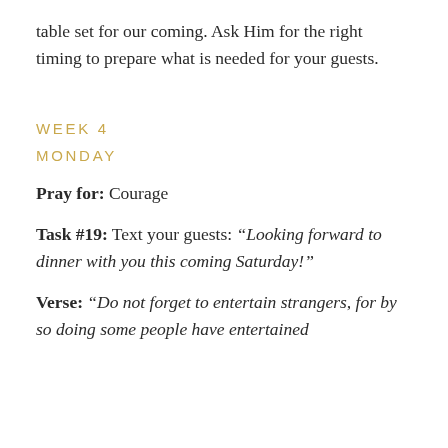table set for our coming. Ask Him for the right timing to prepare what is needed for your guests.
WEEK 4
MONDAY
Pray for: Courage
Task #19: Text your guests: “Looking forward to dinner with you this coming Saturday!”
Verse: “Do not forget to entertain strangers, for by so doing some people have entertained